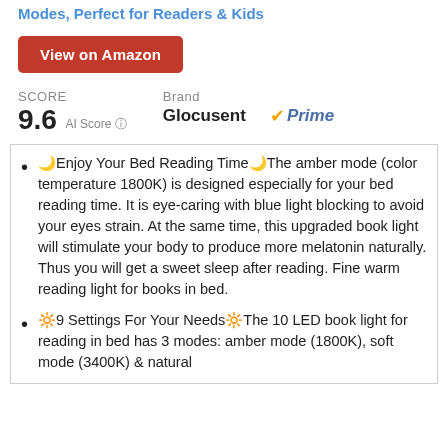Modes, Perfect for Readers & Kids
View on Amazon
SCORE 9.6 AI Score | Brand Glocusent | Prime
🌙Enjoy Your Bed Reading Time🌙The amber mode (color temperature 1800K) is designed especially for your bed reading time. It is eye-caring with blue light blocking to avoid your eyes strain. At the same time, this upgraded book light will stimulate your body to produce more melatonin naturally. Thus you will get a sweet sleep after reading. Fine warm reading light for books in bed.
🔆9 Settings For Your Needs🔆The 10 LED book light for reading in bed has 3 modes: amber mode (1800K), soft mode (3400K) & natural